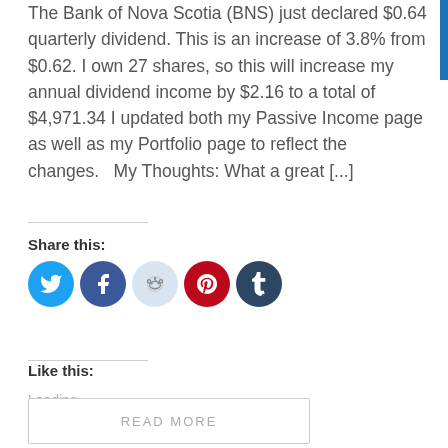The Bank of Nova Scotia (BNS) just declared $0.64 quarterly dividend. This is an increase of 3.8% from $0.62. I own 27 shares, so this will increase my annual dividend income by $2.16 to a total of $4,971.34 I updated both my Passive Income page as well as my Portfolio page to reflect the changes.   My Thoughts: What a great [...]
Share this:
[Figure (illustration): Five social media share icons in circles: Twitter (cyan), Facebook (blue), Reddit (light blue/grey), Pinterest (red), Tumblr (dark navy)]
Like this:
Loading...
READ MORE